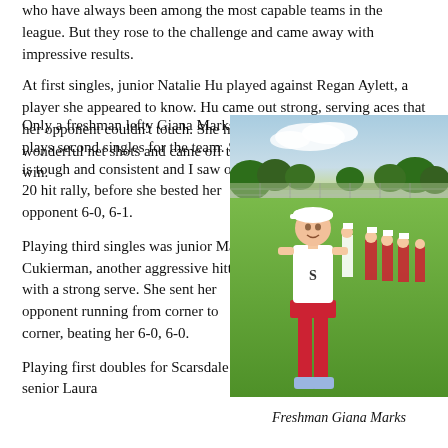who have always been among the most capable teams in the league. But they rose to the challenge and came away with impressive results.
At first singles, junior Natalie Hu played against Regan Aylett, a player she appeared to know. Hu came out strong, serving aces that her opponent couldn't touch. She hit deep baseline shots, wonderful net shots and came off the court quickly with a 6-0, 6-0 win.
Only a freshman lefty Giana Marks plays second singles for the team. She is tough and consistent and I saw one 20 hit rally, before she bested her opponent 6-0, 6-1.
[Figure (photo): Freshman Giana Marks standing on a grass area near a tennis court, wearing a white sleeveless top with the letter S, red shorts, white cap, and blue sneakers. Several teammates in red and white uniforms stand in the background.]
Freshman Giana Marks
Playing third singles was junior Maya Cukierman, another aggressive hitter with a strong serve. She sent her opponent running from corner to corner, beating her 6-0, 6-0.
Playing first doubles for Scarsdale are senior Laura